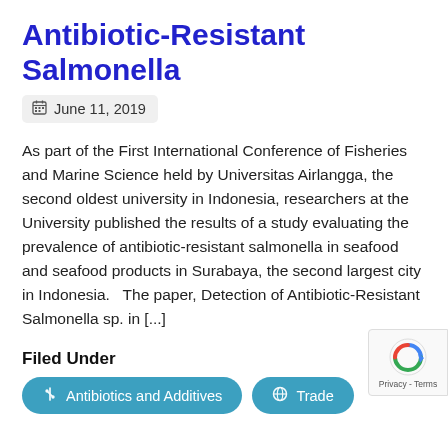Antibiotic-Resistant Salmonella
June 11, 2019
As part of the First International Conference of Fisheries and Marine Science held by Universitas Airlangga, the second oldest university in Indonesia, researchers at the University published the results of a study evaluating the prevalence of antibiotic-resistant salmonella in seafood and seafood products in Surabaya, the second largest city in Indonesia.   The paper, Detection of Antibiotic-Resistant Salmonella sp. in [...]
Filed Under
Antibiotics and Additives
Trade